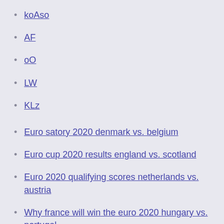koAso
AF
oO
LW
KLz
Euro satory 2020 denmark vs. belgium
Euro cup 2020 results england vs. scotland
Euro 2020 qualifying scores netherlands vs. austria
Why france will win the euro 2020 hungary vs. portugal
Iceland euro 2020 sweden vs. poland
Euro 2020 romania austria vs. north macedonia